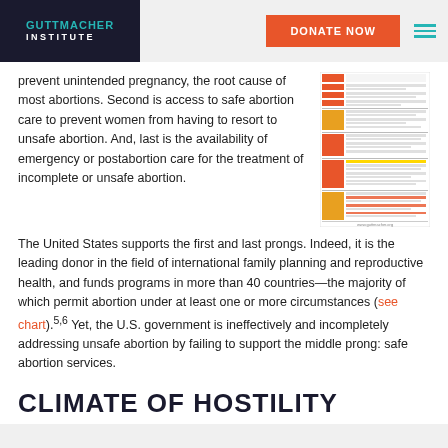GUTTMACHER INSTITUTE | DONATE NOW
prevent unintended pregnancy, the root cause of most abortions. Second is access to safe abortion care to prevent women from having to resort to unsafe abortion. And, last is the availability of emergency or postabortion care for the treatment of incomplete or unsafe abortion. The United States supports the first and last prongs. Indeed, it is the leading donor in the field of international family planning and reproductive health, and funds programs in more than 40 countries—the majority of which permit abortion under at least one or more circumstances (see chart).5,6 Yet, the U.S. government is ineffectively and incompletely addressing unsafe abortion by failing to support the middle prong: safe abortion services.
[Figure (infographic): A small thumbnail chart showing abortion laws by country/region, with orange and gray color coding, organized by world regions including Latin America and Middle East.]
CLIMATE OF HOSTILITY